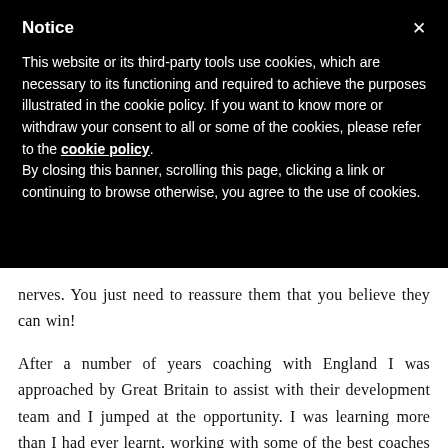Notice
This website or its third-party tools use cookies, which are necessary to its functioning and required to achieve the purposes illustrated in the cookie policy. If you want to know more or withdraw your consent to all or some of the cookies, please refer to the cookie policy. By closing this banner, scrolling this page, clicking a link or continuing to browse otherwise, you agree to the use of cookies.
nerves. You just need to reassure them that you believe they can win!
After a number of years coaching with England I was approached by Great Britain to assist with their development team and I jumped at the opportunity. I was learning more than I had ever learnt, working with some of the best coaches not only within Great